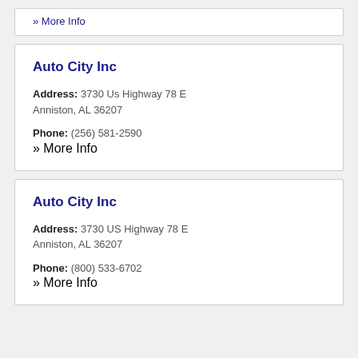» More Info
Auto City Inc
Address: 3730 Us Highway 78 E Anniston, AL 36207
Phone: (256) 581-2590
» More Info
Auto City Inc
Address: 3730 US Highway 78 E Anniston, AL 36207
Phone: (800) 533-6702
» More Info